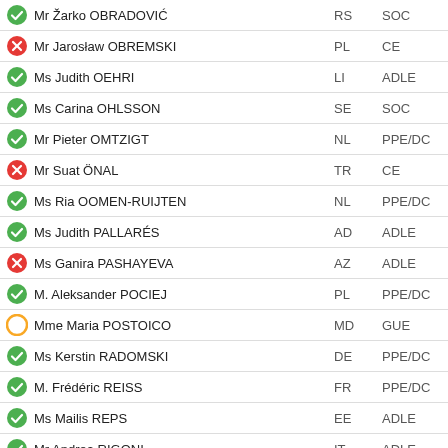Mr Žarko OBRADOVIĆ | RS | SOC | present
Mr Jarosław OBREMSKI | PL | CE | absent
Ms Judith OEHRI | LI | ADLE | present
Ms Carina OHLSSON | SE | SOC | present
Mr Pieter OMTZIGT | NL | PPE/DC | present
Mr Suat ÖNAL | TR | CE | absent
Ms Ria OOMEN-RUIJTEN | NL | PPE/DC | present
Ms Judith PALLARÉS | AD | ADLE | present
Ms Ganira PASHAYEVA | AZ | ADLE | absent
M. Aleksander POCIEJ | PL | PPE/DC | present
Mme Maria POSTOICO | MD | GUE | abstain
Ms Kerstin RADOMSKI | DE | PPE/DC | present
M. Frédéric REISS | FR | PPE/DC | present
Ms Mailis REPS | EE | ADLE | present
Mr Andrea RIGONI | IT | ADLE | present
M. René ROUQUET | FR | SOC | present
M. Armen RUSTAMYAN | AM | SOC | present